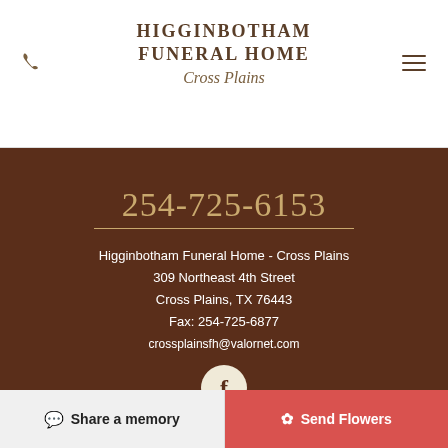[Figure (logo): Higginbotham Funeral Home Cross Plains logo with phone icon and hamburger menu]
254-725-6153
Higginbotham Funeral Home - Cross Plains
309 Northeast 4th Street
Cross Plains, TX 76443
Fax: 254-725-6877
crossplainsfh@valornet.com
[Figure (logo): Facebook icon circle button]
Admin | Obittree | Privacy Policy | Terms of Use | Sitemap
Powered by FrontRunner Professional & TA
Share a memory
Send Flowers